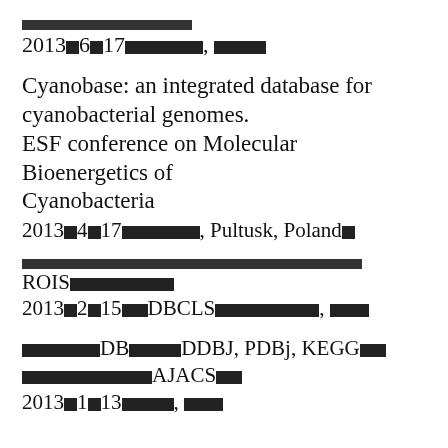[tofu characters - Japanese text]
2013␗4␗17␗␗␗␗␗␗, ␗␗␗␗
Cyanobase: an integrated database for cyanobacterial genomes.
ESF conference on Molecular Bioenergetics of Cyanobacteria
2013␗4␗17␗␗␗␗␗␗, Pultusk, Poland␗
[tofu characters - Japanese text]
ROIS␗␗␗␗␗␗␗␗
2013␗2␗15␗␗DBCLS␗␗␗␗␗␗␗␗, ␗␗␗
␗␗␗␗␗␗DB␗␗␗␗DDBJ, PDBj, KEGG␗␗
␗␗␗␗␗␗␗␗␗␗AJACS␗␗
2013␗1␗13␗␗␗␗, ␗␗␗